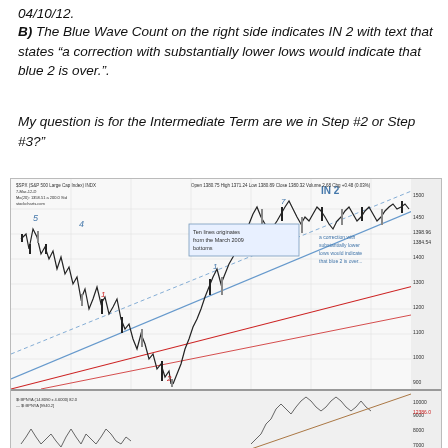04/10/12.
B)  The Blue Wave Count on the right side indicates IN 2 with text that states “a correction with substantially lower lows would indicate that blue 2 is over.”.
My question is for the Intermediate Term are we in Step #2 or Step #3?”
[Figure (continuous-plot): Stock chart (S&P 500 large cap index) showing wave count analysis with labeled waves (4, 5, 1, 2, IN 2), trend channel lines originating from March 2009 bottoms (red and blue diagonal lines), candlestick price action, and annotation boxes including 'Ten lines originates from the March 2009 bottoms' and 'a correction with substantially lower lows would indicate that blue 2 is over.' Upper main chart covers approximately 2007-2012 period with price scale on right. Lower strip shows a secondary indicator chart.]
S&P 500 large cap index chart with Elliott Wave count annotations, dated 04/10/12